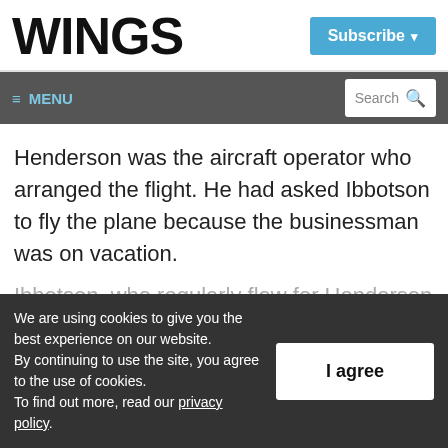WINGS
Subscribe ▾
≡ MENU  Search 🔍
Henderson was the aircraft operator who arranged the flight. He had asked Ibbotson to fly the plane because the businessman was on vacation.
Ibbotson, who regularly flew for Henderson
We are using cookies to give you the best experience on our website.
By continuing to use the site, you agree to the use of cookies.
To find out more, read our privacy policy.